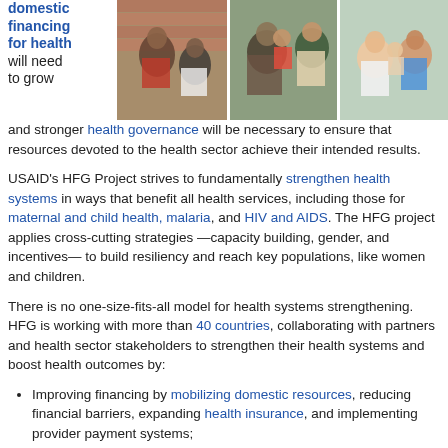domestic financing for health will need to grow and stronger health governance will be necessary to ensure that resources devoted to the health sector achieve their intended results.
[Figure (photo): Strip of three photos showing health workers in various settings: a health worker with a patient, an elderly woman with a child, and a healthcare professional with patients.]
USAID's HFG Project strives to fundamentally strengthen health systems in ways that benefit all health services, including those for maternal and child health, malaria, and HIV and AIDS. The HFG project applies cross-cutting strategies —capacity building, gender, and incentives— to build resiliency and reach key populations, like women and children.
There is no one-size-fits-all model for health systems strengthening. HFG is working with more than 40 countries, collaborating with partners and health sector stakeholders to strengthen their health systems and boost health outcomes by:
Improving financing by mobilizing domestic resources, reducing financial barriers, expanding health insurance, and implementing provider payment systems;
Enhancing governance for better health system management and greater accountability and transparency;